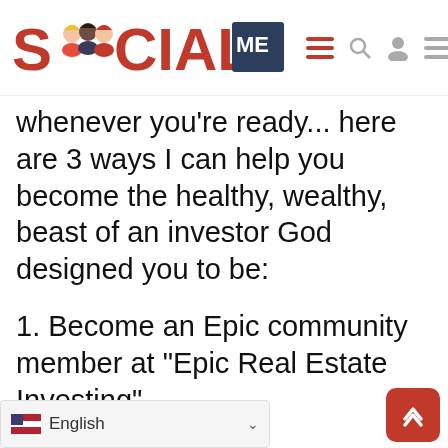[Figure (logo): SocialMe website logo with cartoon people figures replacing the letter 'O', red bold text 'SOCIAL' with dark navy 'ME', followed by navigation icons: hamburger menu (red), search icon (gray), user profile icon (gray), hamburger menu (gray)]
whenever you're ready... here are 3 ways I can help you become the healthy, wealthy, beast of an investor God designed you to be:
1. Become an Epic community member at “Epic Real Estate Investing”